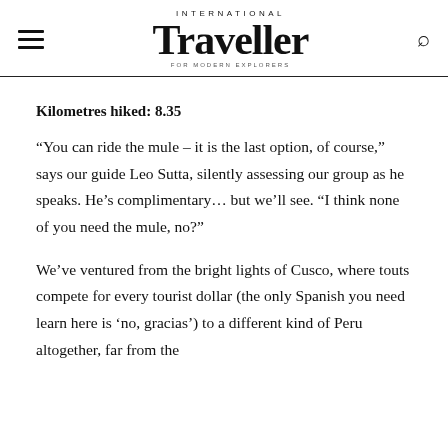International Traveller
Kilometres hiked: 8.35
“You can ride the mule – it is the last option, of course,” says our guide Leo Sutta, silently assessing our group as he speaks. He’s complimentary… but we’ll see. “I think none of you need the mule, no?”
We’ve ventured from the bright lights of Cusco, where touts compete for every tourist dollar (the only Spanish you need learn here is ‘no, gracias’) to a different kind of Peru altogether, far from the